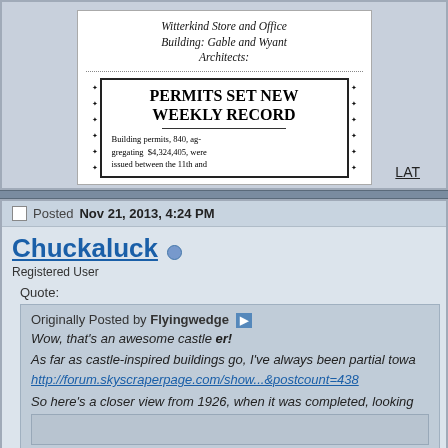[Figure (photo): Scanned newspaper image showing handwritten caption 'Witterkind Store and Office Building: Gable and Wyant Architects.' and a boxed headline 'PERMITS SET NEW WEEKLY RECORD' with body text about building permits aggregating $4,324,405]
LAT
Posted Nov 21, 2013, 4:24 PM
Chuckaluck
Registered User
Quote:
Originally Posted by Flyingwedge
Wow, that's an awesome castle er!
As far as castle-inspired buildings go, I've always been partial towa http://forum.skyscraperpage.com/show...&postcount=438
So here's a closer view from 1926, when it was completed, looking